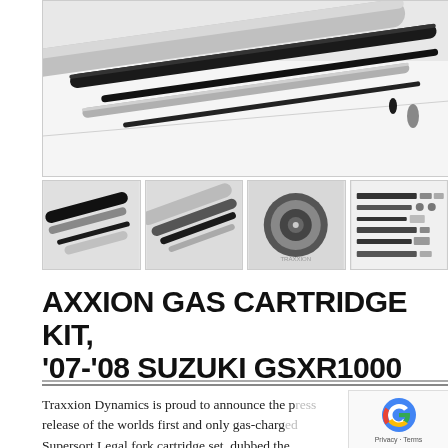[Figure (photo): Main product photo showing Axxion gas cartridge kit components: several long cylindrical tubes in silver and black laid diagonally on a white background]
[Figure (photo): Thumbnail 1: close-up of black and silver cartridge tubes on white background]
[Figure (photo): Thumbnail 2: close-up of multiple cartridge components diagonal arrangement]
[Figure (photo): Thumbnail 3: close-up end-on view of cartridge component with branding visible]
[Figure (photo): Thumbnail 4: flat lay diagram/technical view of all kit components on white background]
AXXION GAS CARTRIDGE KIT, '07-'08 SUZUKI GSXR1000
Traxxion Dynamics is proud to announce the press release of the worlds first and only gas-charged Supersport Legal fork cartridge set, dubbed the